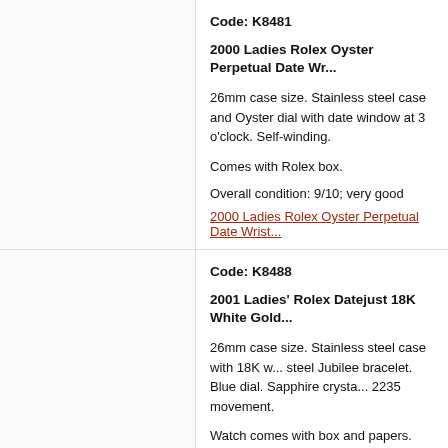Code: K8481
2000 Ladies Rolex Oyster Perpetual Date Wristwatch
26mm case size. Stainless steel case and Oyster dial with date window at 3 o'clock. Self-winding.
Comes with Rolex box.
Overall condition: 9/10; very good
2000 Ladies Rolex Oyster Perpetual Date Wristwatch
Code: K8488
2001 Ladies' Rolex Datejust 18K White Gold
26mm case size. Stainless steel case with 18K white gold bezel. Stainless steel Jubilee bracelet. Blue dial. Sapphire crystal. Rolex caliber 2235 movement.
Watch comes with box and papers.
Overall Condition: 9.8/10; freshly overhauled.